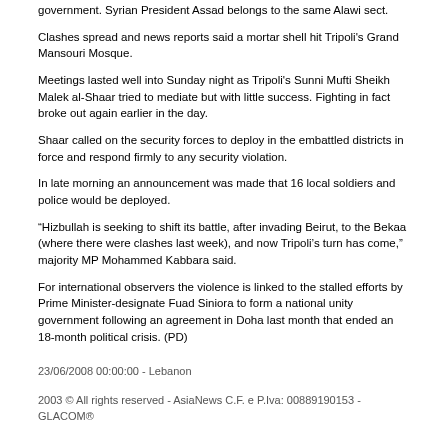government. Syrian President Assad belongs to the same Alawi sect.
Clashes spread and news reports said a mortar shell hit Tripoli's Grand Mansouri Mosque.
Meetings lasted well into Sunday night as Tripoli's Sunni Mufti Sheikh Malek al-Shaar tried to mediate but with little success. Fighting in fact broke out again earlier in the day.
Shaar called on the security forces to deploy in the embattled districts in force and respond firmly to any security violation.
In late morning an announcement was made that 16 local soldiers and police would be deployed.
“Hizbullah is seeking to shift its battle, after invading Beirut, to the Bekaa (where there were clashes last week), and now Tripoli’s turn has come,” majority MP Mohammed Kabbara said.
For international observers the violence is linked to the stalled efforts by Prime Minister-designate Fuad Siniora to form a national unity government following an agreement in Doha last month that ended an 18-month political crisis. (PD)
23/06/2008 00:00:00 - Lebanon
2003 © All rights reserved - AsiaNews C.F. e P.Iva: 00889190153 - GLACOM®